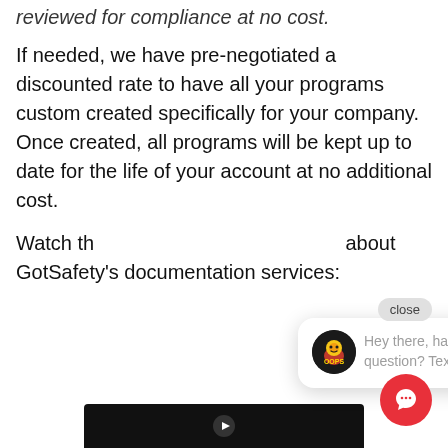reviewed for compliance at no cost.
If needed, we have pre-negotiated a discounted rate to have all your programs custom created specifically for your company. Once created, all programs will be kept up to date for the life of your account at no additional cost.
Watch th… about GotSafety's documentation services:
[Figure (screenshot): Chat widget overlay with close button, avatar logo, and message 'Hey there, have a question? Text us here.' and a red chat button in the bottom right corner.]
[Figure (screenshot): Video thumbnail at bottom of page showing dark background with play button area]